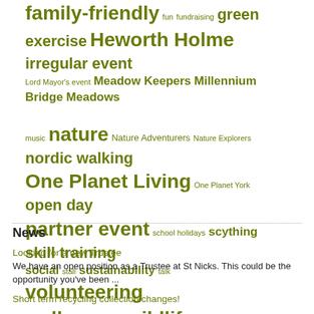[Figure (infographic): Tag cloud with various event and nature-related keywords in olive/khaki green color, varying font sizes indicating frequency or importance. Tags include: family-friendly, fun, fundraising, green, exercise, Heworth Holme, irregular event, Lord Mayor's event, Meadow Keepers, Millennium Bridge Meadows, music, nature, Nature Adventurers, Nature Explorers, nordic walking, One Planet Living, One Planet York, open day, partner event, school holidays, scything, skill training, social, stall, sustainability, talk, volunteering, walk, wildlife, wildlife, workshop, York Becks]
News
Looking for a new Trustee
We have an open position as a Trustee at St Nicks. This could be the opportunity you've been ...
Short term recycling collection changes!